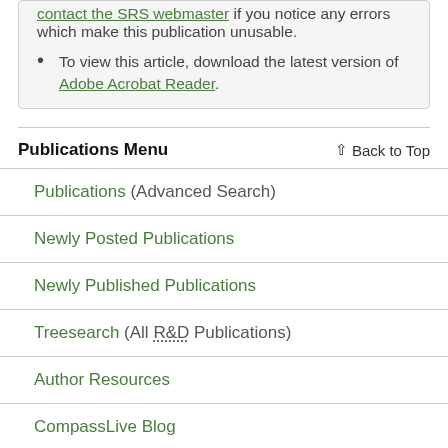contact the SRS webmaster if you notice any errors which make this publication unusable.
To view this article, download the latest version of Adobe Acrobat Reader.
Publications Menu   ↑ Back to Top
Publications (Advanced Search)
Newly Posted Publications
Newly Published Publications
Treesearch (All R&D Publications)
Author Resources
CompassLive Blog